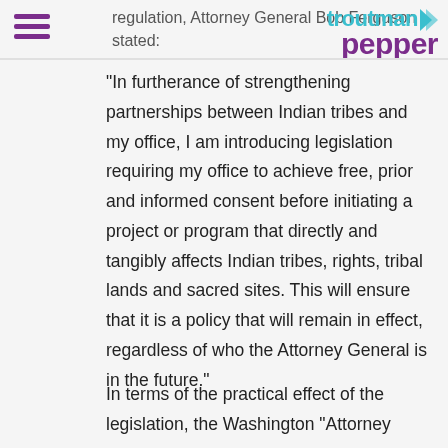regulation, Attorney General Bob Ferguson stated:
[Figure (logo): Troutman Pepper law firm logo with teal 'troutman' text and purple 'pepper' text and a small arrow icon]
“In furtherance of strengthening partnerships between Indian tribes and my office, I am introducing legislation requiring my office to achieve free, prior and informed consent before initiating a project or program that directly and tangibly affects Indian tribes, rights, tribal lands and sacred sites. This will ensure that it is a policy that will remain in effect, regardless of who the Attorney General is in the future.”
In terms of the practical effect of the legislation, the Washington “Attorney